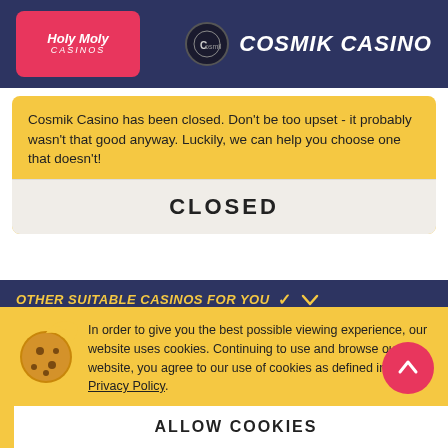[Figure (logo): Holy Moly Casinos logo in pink/red rounded rectangle]
COSMIK CASINO
Cosmik Casino has been closed. Don't be too upset - it probably wasn't that good anyway. Luckily, we can help you choose one that doesn't!
CLOSED
OTHER SUITABLE CASINOS FOR YOU
If you're interested - just check the list on the right or visit one of these guys: Trada Casino, Spin Casino, and Rizk Casino.
In order to give you the best possible viewing experience, our website uses cookies. Continuing to use and browse our website, you agree to our use of cookies as defined in our Privacy Policy.
ALLOW COOKIES